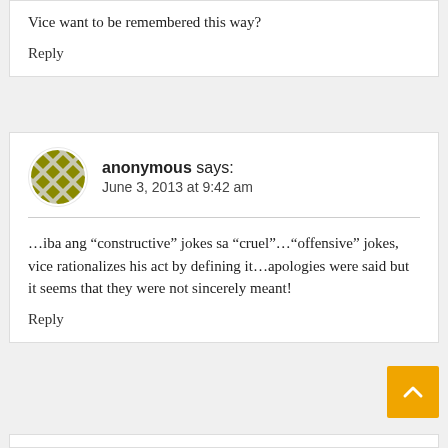Vice want to be remembered this way?
Reply
anonymous says:
June 3, 2013 at 9:42 am
“...iba ang “constructive” jokes sa “cruel”...“offensive” jokes, vice rationalizes his act by defining it...apologies were said but it seems that they were not sincerely meant!
Reply